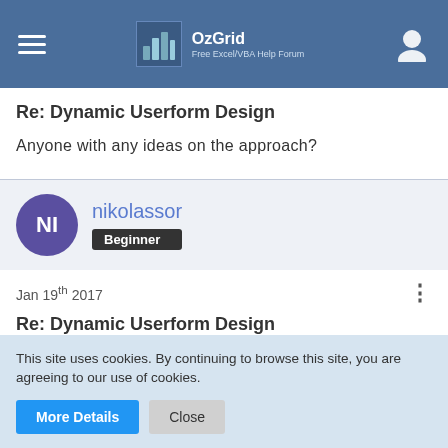OzGrid — Free Excel/VBA Help Forum
Re: Dynamic Userform Design
Anyone with any ideas on the approach?
nikolassor — Beginner
Jan 19th 2017
Re: Dynamic Userform Design
I don't know if it suits you, but did you try to use a listbox
This site uses cookies. By continuing to browse this site, you are agreeing to our use of cookies.